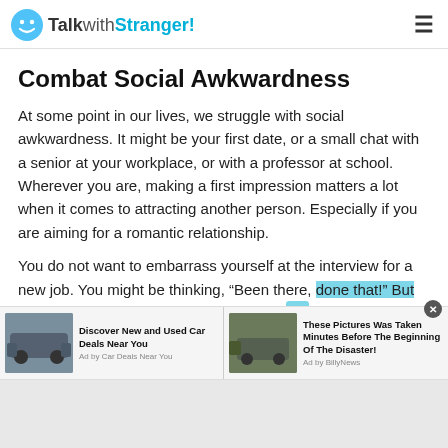TalkwithStranger!
Combat Social Awkwardness
At some point in our lives, we struggle with social awkwardness. It might be your first date, or a small chat with a senior at your workplace, or with a professor at school. Wherever you are, making a first impression matters a lot when it comes to attracting another person. Especially if you are aiming for a romantic relationship.
You do not want to embarrass yourself at the interview for a new job. You might be thinking, “Been there, done that!” But not anymore! The random stranger chat at the
[Figure (screenshot): Advertisement bar with two ad units: 'Discover New and Used Car Deals Near You' by Car Deals Near You, and 'These Pictures Was Taken Minutes Before The Beginning Of The Disaster!' by BillyNews]